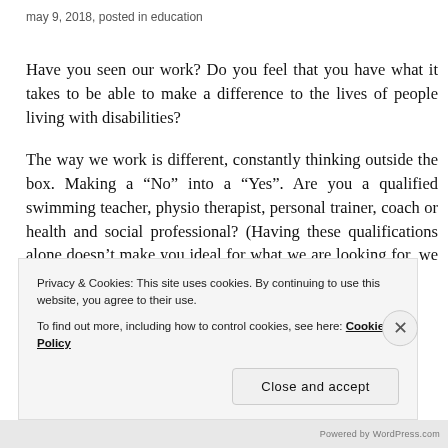may 9, 2018, posted in education
Have you seen our work? Do you feel that you have what it takes to be able to make a difference to the lives of people living with disabilities?
The way we work is different, constantly thinking outside the box. Making a “No” into a “Yes”. Are you a qualified swimming teacher, physio therapist, personal trainer, coach or health and social professional? (Having these qualifications alone doesn’t make you ideal for what we are looking for, we expect more than
Privacy & Cookies: This site uses cookies. By continuing to use this website, you agree to their use.
To find out more, including how to control cookies, see here: Cookie Policy
Close and accept